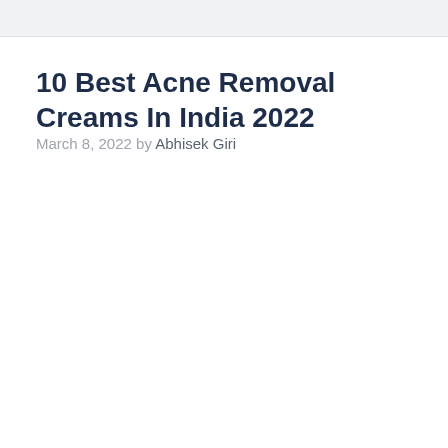10 Best Acne Removal Creams In India 2022
March 8, 2022 by Abhisek Giri